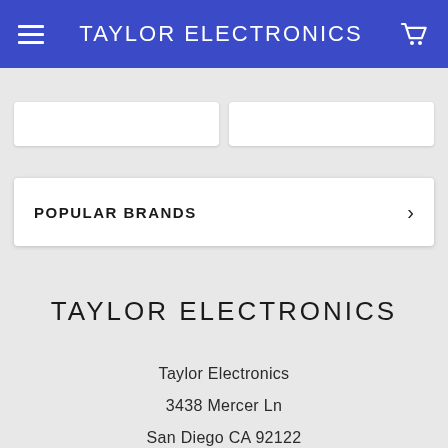TAYLOR ELECTRONICS
POPULAR BRANDS
TAYLOR ELECTRONICS
Taylor Electronics
3438 Mercer Ln
San Diego CA 92122